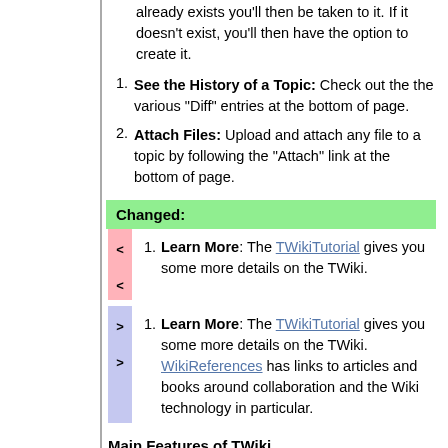already exists you'll then be taken to it. If it doesn't exist, you'll then have the option to create it.
See the History of a Topic: Check out the the various "Diff" entries at the bottom of page.
Attach Files: Upload and attach any file to a topic by following the "Attach" link at the bottom of page.
Changed:
Learn More: The TWikiTutorial gives you some more details on the TWiki.
Learn More: The TWikiTutorial gives you some more details on the TWiki. WikiReferences has links to articles and books around collaboration and the Wiki technology in particular.
Main Features of TWiki